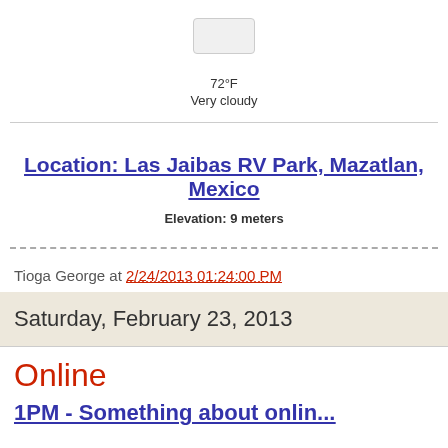[Figure (illustration): Weather icon showing overcast/cloudy conditions — a light grey rounded rectangle box]
72°F
Very cloudy
Location: Las Jaibas RV Park, Mazatlan, Mexico
Elevation: 9 meters
Tioga George at 2/24/2013 01:24:00 PM
Saturday, February 23, 2013
Online
1PM - Something about online...